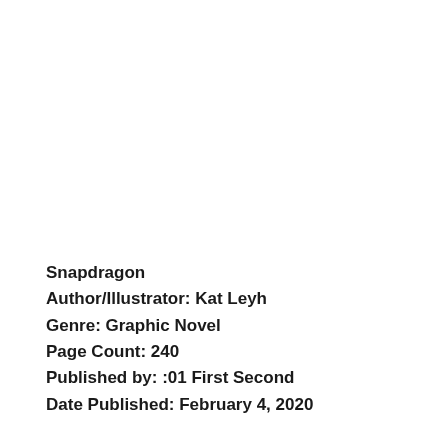Snapdragon
Author/Illustrator: Kat Leyh
Genre: Graphic Novel
Page Count: 240
Published by: :01 First Second
Date Published: February 4, 2020